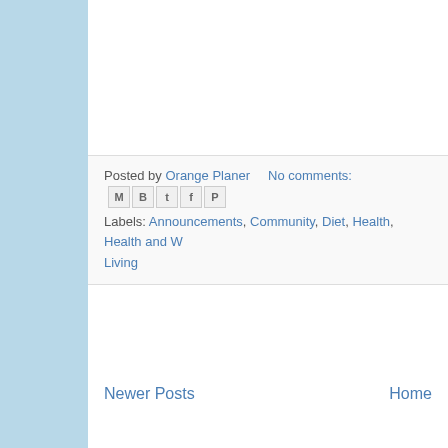Posted by Orange Planer   No comments:
Labels: Announcements, Community, Diet, Health, Health and W... Living
Newer Posts   Home
Subscribe to: Posts (Atom)
Trademarks property of their respective owners